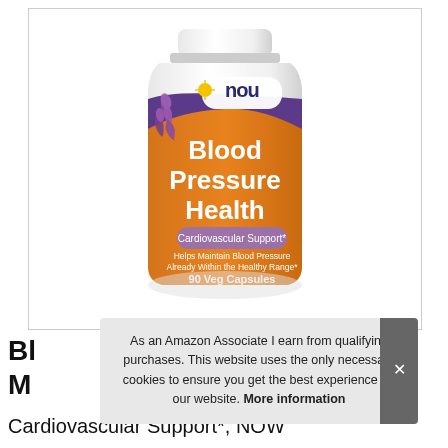[Figure (photo): NOW Foods Blood Pressure Health supplement bottle. White plastic bottle with orange and purple label. Label reads: NOW Blood Pressure Health, Cardiovascular Support, Helps Maintain Blood Pressure Already Within the Healthy Range, 90 Veg Capsules, A Dietary Supplement, Vegetarian/Vegan. Purple plant illustration on left side.]
As an Amazon Associate I earn from qualifying purchases. This website uses the only necessary cookies to ensure you get the best experience on our website. More information
Blood Pressure Health, NOW Cardiovascular Support, NOW